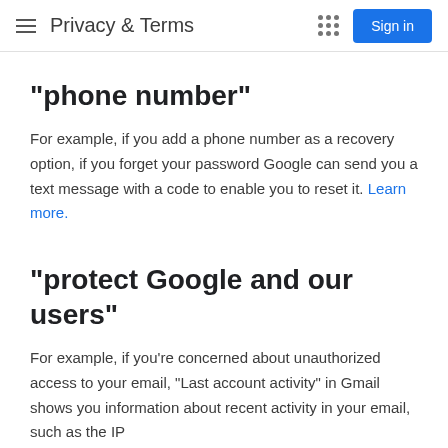Privacy & Terms | Sign in
"phone number"
For example, if you add a phone number as a recovery option, if you forget your password Google can send you a text message with a code to enable you to reset it. Learn more.
"protect Google and our users"
For example, if you're concerned about unauthorized access to your email, "Last account activity" in Gmail shows you information about recent activity in your email, such as the IP addresses that accessed your email, the associated location,